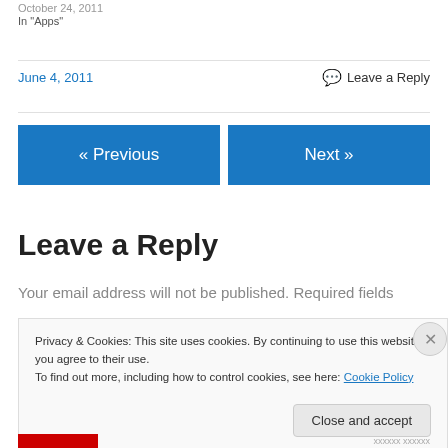October 24, 2011
In "Apps"
June 4, 2011
Leave a Reply
« Previous
Next »
Leave a Reply
Your email address will not be published. Required fields
Privacy & Cookies: This site uses cookies. By continuing to use this website, you agree to their use.
To find out more, including how to control cookies, see here: Cookie Policy
Close and accept